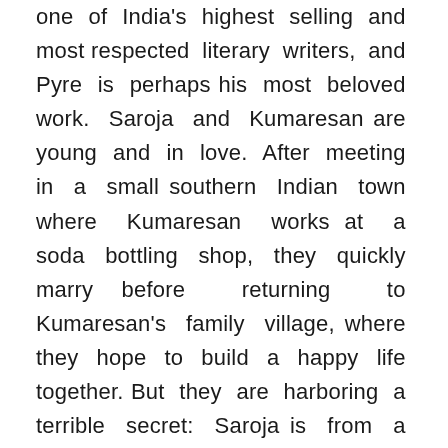one of India's highest selling and most respected literary writers, and Pyre is perhaps his most beloved work. Saroja and Kumaresan are young and in love. After meeting in a small southern Indian town where Kumaresan works at a soda bottling shop, they quickly marry before returning to Kumaresan's family village, where they hope to build a happy life together. But they are harboring a terrible secret: Saroja is from a different caste than Kumaresan, and if the villagers find out, they will both be in grave danger. Faced with venom from her mother-in-law and questions from her new neighbors, Saroja tries to adjust to a new lonely and uncomfortable life, while Kumaresan struggles to scrape together enough money for them to start over somewhere new. Will their love keep